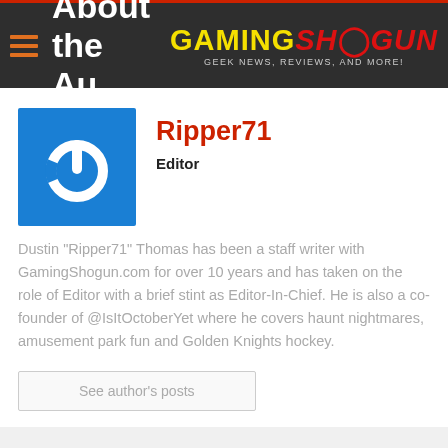About the Author — GamingShogun — Geek News, Reviews, and More!
Ripper71
Editor
Dustin "Ripper71" Thomas has been a staff writer with GamingShogun.com for over 10 years and has taken on the role of Editor with a brief stint as Editor-In-Chief. He is also a co-founder of @IsItOctoberYet where he covers haunt nightmares, amusement park fun and Golden Knights hockey.
See author's posts